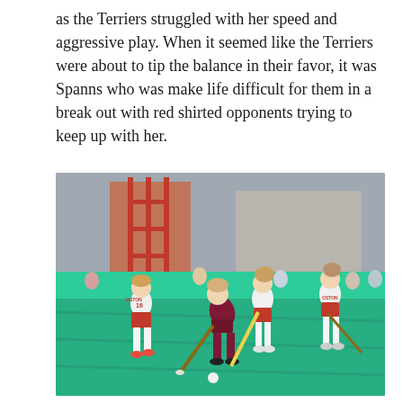as the Terriers struggled with her speed and aggressive play. When it seemed like the Terriers were about to tip the balance in their favor, it was Spanns who was make life difficult for them in a break out with red shirted opponents trying to keep up with her.
[Figure (photo): Field hockey game photo showing multiple female players, some in white Boston University uniforms with red shorts and some in maroon uniforms, competing on a green turf field. Players are running and contesting for the ball.]